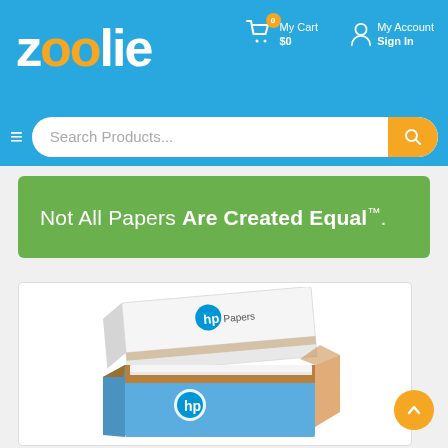[Figure (screenshot): Zoolie e-commerce website header with logo, cart, account, search bar, banner reading 'Not All Papers Are Created Equal.', and HP Papers product box image]
zoolie — My Cart $0 — My Account Sign In
Search Products...
Not All Papers Are Created Equal.
[Figure (photo): HP Papers box partially open showing white paper reams inside, white lid and blue box with HP logo]